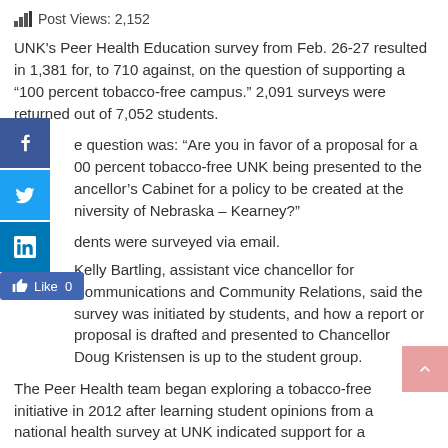Post Views: 2,152
UNK's Peer Health Education survey from Feb. 26-27 resulted in 1,381 for, to 710 against, on the question of supporting a “100 percent tobacco-free campus.” 2,091 surveys were returned out of 7,052 students.
e question was: “Are you in favor of a proposal for a 00 percent tobacco-free UNK being presented to the ancellor’s Cabinet for a policy to be created at the niversity of Nebraska – Kearney?”
dents were surveyed via email.
elly Bartling, assistant vice chancellor for Communications and Community Relations, said the survey was initiated by students, and how a report or proposal is drafted and presented to Chancellor Doug Kristensen is up to the student group.
The Peer Health team began exploring a tobacco-free initiative in 2012 after learning student opinions from a national health survey at UNK indicated support for a